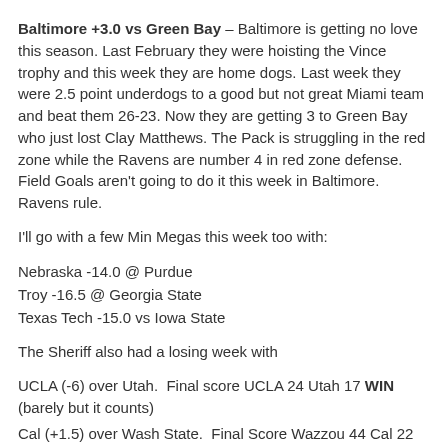Baltimore +3.0 vs Green Bay – Baltimore is getting no love this season. Last February they were hoisting the Vince trophy and this week they are home dogs. Last week they were 2.5 point underdogs to a good but not great Miami team and beat them 26-23. Now they are getting 3 to Green Bay who just lost Clay Matthews. The Pack is struggling in the red zone while the Ravens are number 4 in red zone defense. Field Goals aren't going to do it this week in Baltimore. Ravens rule.
I'll go with a few Min Megas this week too with:
Nebraska -14.0 @ Purdue
Troy -16.5 @ Georgia State
Texas Tech -15.0 vs Iowa State
The Sheriff also had a losing week with
UCLA (-6) over Utah.  Final score UCLA 24 Utah 17 WIN (barely but it counts)
Cal (+1.5) over Wash State.  Final Score Wazzou 44 Cal 22 LOSS